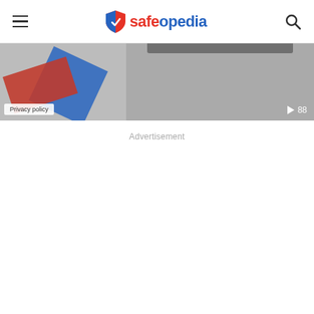safeopedia
[Figure (screenshot): Partial video thumbnail showing red and blue diagonal shapes on left, gray video area on right with play button and view count '88', privacy policy badge at bottom left]
Privacy policy
▶ 88
Advertisement